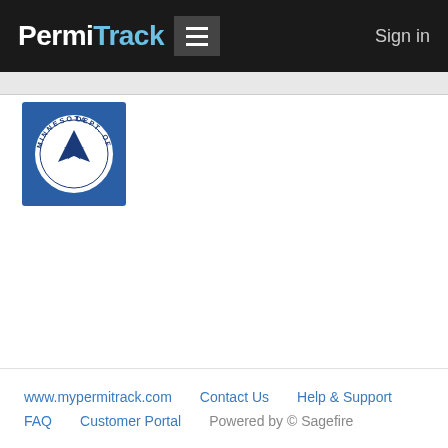PermiTrack  Sign in
[Figure (logo): Minnesota Department of Transportation circular logo with blue background, white circle containing a road/chevron symbol and star, text around the circle reading MINNESOTA DEPARTMENT OF TRANSPORTATION]
www.mypermitrack.com   Contact Us   Help & Support   FAQ   Customer Portal   Powered by © Sagefire